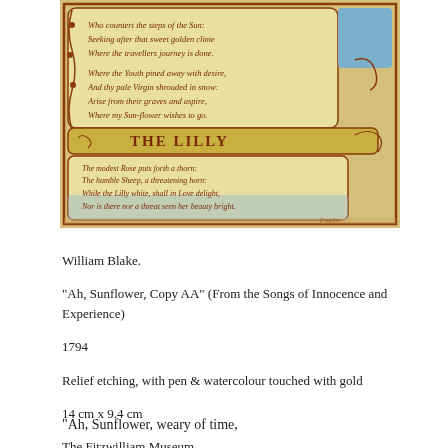[Figure (illustration): William Blake illuminated manuscript page showing 'Ah Sunflower' and 'The Lilly' poems in ornate handwritten script with decorative borders, figures, and watercolour in golden, blue and red tones.]
William Blake.
"Ah, Sunflower, Copy AA" (From the Songs of Innocence and Experience)
1794
Relief etching, with pen & watercolour touched with gold
14 cm x 9.4 cm
The Fitzwilliam Museum,
 Cambridge, United Kingdom
"Ah, Sunflower, weary of time,